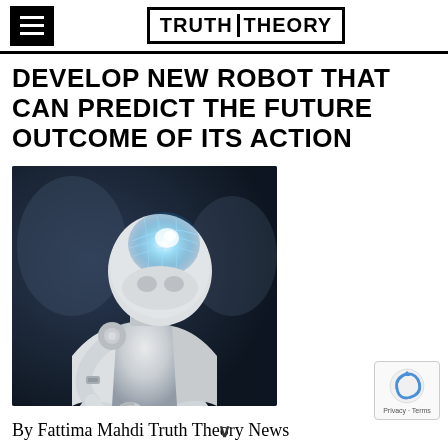TRUTH THEORY
DEVELOP NEW ROBOT THAT CAN PREDICT THE FUTURE OUTCOME OF ITS ACTION
[Figure (photo): A white humanoid robot with a glowing blue transparent brain visible inside its head, shown in a thinking pose with one hand raised to its chin, photographed in dramatic blue-toned lighting against a dark blurred background.]
By Fattima Mahdi Truth Theory News